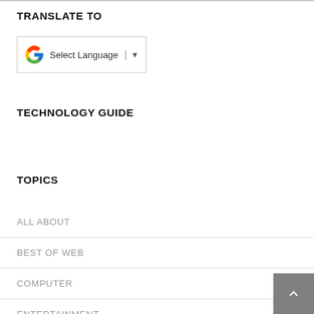TRANSLATE TO
[Figure (screenshot): Google Translate widget showing Google 'G' logo, text 'Select Language', a vertical pipe divider, and a dropdown arrow, inside a bordered box.]
TECHNOLOGY GUIDE
TOPICS
ALL ABOUT
BEST OF WEB
COMPUTER
ENTERTAINMENT